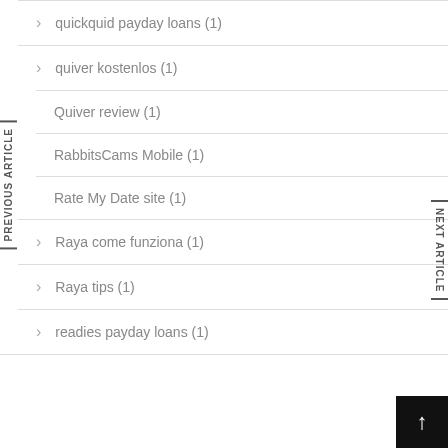quickquid payday loans (1)
quiver kostenlos (1)
Quiver review (1)
RabbitsCams Mobile (1)
Rate My Date site (1)
Raya come funziona (1)
Raya tips (1)
readies payday loans (1)